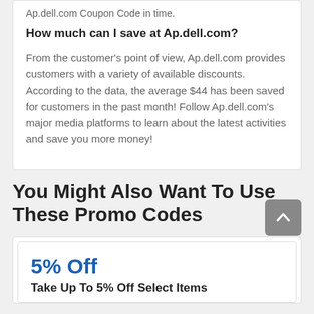Ap.dell.com Coupon Code in time.
How much can I save at Ap.dell.com?
From the customer's point of view, Ap.dell.com provides customers with a variety of available discounts. According to the data, the average $44 has been saved for customers in the past month! Follow Ap.dell.com's major media platforms to learn about the latest activities and save you more money!
You Might Also Want To Use These Promo Codes
5% Off
Take Up To 5% Off Select Items